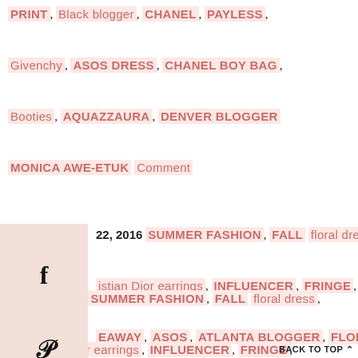PRINT, Black blogger, CHANEL, PAYLESS, Givenchy, ASOS DRESS, CHANEL BOY BAG, Booties, AQUAZZAURA, DENVER BLOGGER MONICA AWE-ETUK Comment
Aug 22, 2016 SUMMER FASHION, FALL floral dress, Christian Dior earrings, INFLUENCER, FRINGE, GIVEAWAY, ASOS, ATLANTA BLOGGER, FLORAL PRINT, Black blogger, CHANEL, PAYLESS, Givenchy, ASOS DRESS, CHANEL BOY BAG, Booties, AQUAZZAURA, DENVER BLOGGER MONICA AWE-ETUK Comment
Aug 22, 2016 SUMMER FASHION, FALL floral dress, Christian Dior earrings, INFLUENCER, FRINGE, GIVEAWAY, ASOS, ATLANTA BLOGGER, FLORAL PRINT, Black blogger, CHANEL, PAYLESS,